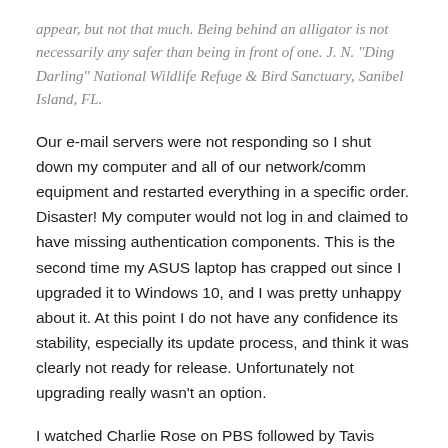appear, but not that much. Being behind an alligator is not necessarily any safer than being in front of one. J. N. "Ding Darling" National Wildlife Refuge & Bird Sanctuary, Sanibel Island, FL.
Our e-mail servers were not responding so I shut down my computer and all of our network/comm equipment and restarted everything in a specific order.  Disaster!  My computer would not log in and claimed to have missing authentication components.  This is the second time my ASUS laptop has crapped out since I upgraded it to Windows 10, and I was pretty unhappy about it.  At this point I do not have any confidence its stability, especially its update process, and think it was clearly not ready for release.  Unfortunately not upgrading really wasn't an option.
I watched Charlie Rose on PBS followed by Tavis Smiley and a program on Black artists.  That was followed by This Old House and Ask TOH.  I think I restarted my computer several